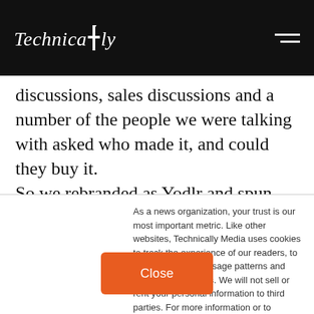Technically
discussions, sales discussions and a number of the people we were talking with asked who made it, and could they buy it. So we rebranded as Yodlr and spun the “Labs” team off into a new company focused on building the most efficient remote meeting/presentation platform
As a news organization, your trust is our most important metric. Like other websites, Technically Media uses cookies to track the experience of our readers, to better understand usage patterns and content preferences. We will not sell or rent your personal information to third parties. For more information or to contact us, read our entire Ethics & Privacy Policy.
Close